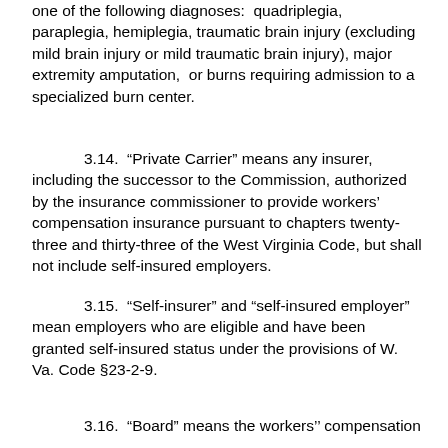one of the following diagnoses:  quadriplegia, paraplegia, hemiplegia, traumatic brain injury (excluding mild brain injury or mild traumatic brain injury), major extremity amputation,  or burns requiring admission to a specialized burn center.
3.14.  “Private Carrier” means any insurer, including the successor to the Commission, authorized by the insurance commissioner to provide workers’ compensation insurance pursuant to chapters twenty-three and thirty-three of the West Virginia Code, but shall not include self-insured employers.
3.15.  “Self-insurer” and “self-insured employer” mean employers who are eligible and have been granted self-insured status under the provisions of W. Va. Code §23-2-9.
3.16.  “Board” means the workers’’ compensation